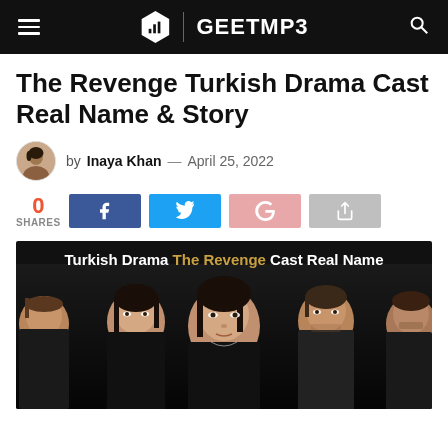GEETMP3
The Revenge Turkish Drama Cast Real Name & Story
by Inaya Khan — April 25, 2022
0 SHARES
[Figure (photo): Feature image showing Turkish Drama The Revenge cast real name with 5 actors posed against a dark background. Text overlay reads: Turkish Drama The Revenge Cast Real Name]
Turkish Drama The Revenge Cast Real Name